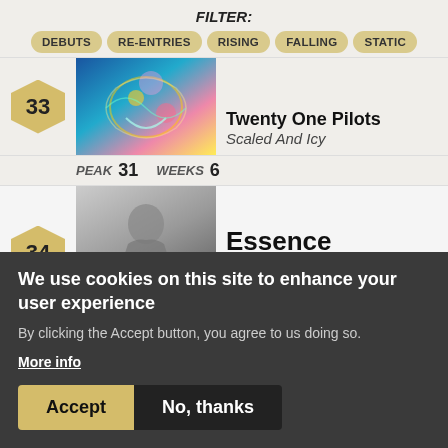FILTER:
DEBUTS
RE-ENTRIES
RISING
FALLING
STATIC
33 — Twenty One Pilots — Scaled And Icy — PEAK 31, WEEKS 6
34 — Essence — WizKid ft. Tems — Made in Lagos — PEAK 34, WEEKS 6 — ↑3
We use cookies on this site to enhance your user experience
By clicking the Accept button, you agree to us doing so.
More info
Accept
No, thanks